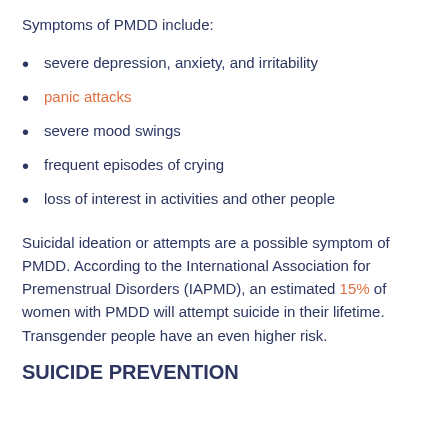Symptoms of PMDD include:
severe depression, anxiety, and irritability
panic attacks
severe mood swings
frequent episodes of crying
loss of interest in activities and other people
Suicidal ideation or attempts are a possible symptom of PMDD. According to the International Association for Premenstrual Disorders (IAPMD), an estimated 15% of women with PMDD will attempt suicide in their lifetime. Transgender people have an even higher risk.
SUICIDE PREVENTION